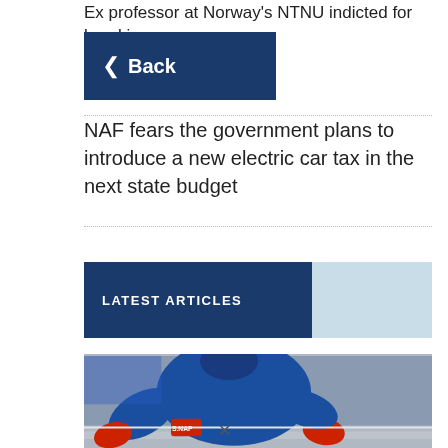Ex professor at Norway's NTNU indicted for breaking against Iran
Back
NAF fears the government plans to introduce a new electric car tax in the next state budget
LATEST ARTICLES
[Figure (photo): Worker in blue jacket and red gloves working on metal surface at industrial site]